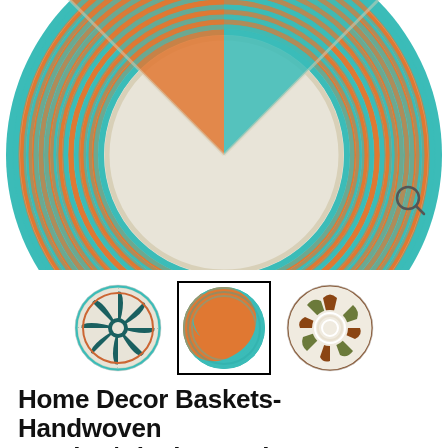[Figure (photo): Close-up top view of a large handwoven basket with teal/turquoise and orange spiral pattern. A magnifying glass icon is shown in the lower right of the image area.]
[Figure (photo): Three thumbnail images of handwoven baskets: left - circular basket with dark teal and cream pinwheel/sunburst pattern; center (selected, shown with black border) - circular basket with teal and orange swirl/wave pattern; right - circular basket with cream, brown and olive star/leaf pattern.]
Home Decor Baskets-Handwoven Serving/Display Baskets
$119.00
Free shipping